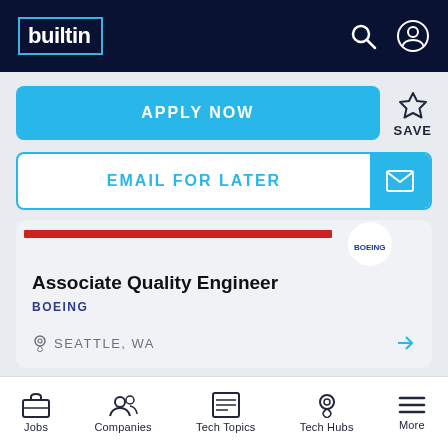builtin
APPLY NOW
SAVE
EMAIL FOR LATER
Associate Quality Engineer
BOEING
SEATTLE, WA
DEV + ENGINEER
Jobs  Companies  Tech Topics  Tech Hubs  More